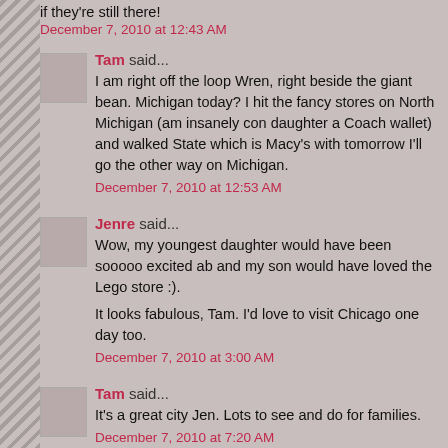if they're still there!
December 7, 2010 at 12:43 AM
Tam said...
I am right off the loop Wren, right beside the giant bean. Michigan today? I hit the fancy stores on North Michigan (am insanely con daughter a Coach wallet) and walked State which is Macy's with tomorrow I'll go the other way on Michigan.
December 7, 2010 at 12:53 AM
Jenre said...
Wow, my youngest daughter would have been sooooo excited ab and my son would have loved the Lego store :).
It looks fabulous, Tam. I'd love to visit Chicago one day too.
December 7, 2010 at 3:00 AM
Tam said...
It's a great city Jen. Lots to see and do for families.
December 7, 2010 at 7:20 AM
Jordan Castillo Price said...